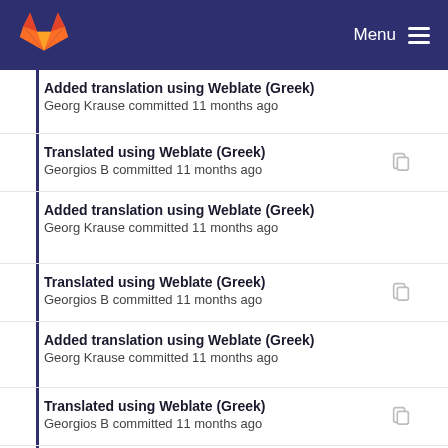Menu
Added translation using Weblate (Greek)
Georg Krause committed 11 months ago
Translated using Weblate (Greek)
Georgios B committed 11 months ago
Added translation using Weblate (Greek)
Georg Krause committed 11 months ago
Translated using Weblate (Greek)
Georgios B committed 11 months ago
Added translation using Weblate (Greek)
Georg Krause committed 11 months ago
Translated using Weblate (Greek)
Georgios B committed 11 months ago
Added translation using Weblate (Greek)